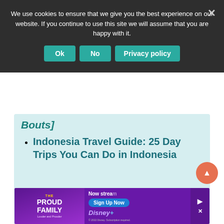We use cookies to ensure that we give you the best experience on our website. If you continue to use this site we will assume that you are happy with it.
Indonesia Travel Guide: 25 Day Trips You Can Do in Indonesia
[Figure (screenshot): Disney+ The Proud Family advertisement banner at the bottom of the page with 'Now streaming', 'Sign Up Now' button, and Disney+ logo]